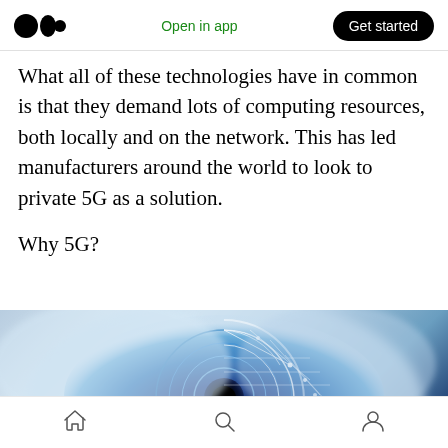Medium app header — Open in app | Get started
What all of these technologies have in common is that they demand lots of computing resources, both locally and on the network. This has led manufacturers around the world to look to private 5G as a solution.
Why 5G?
[Figure (photo): Close-up of a human eye with a futuristic blue digital radar/HUD interface overlay, suggesting advanced technology or augmented reality. Blue tones with white geometric arc lines.]
Navigation bar: Home, Search, Profile icons